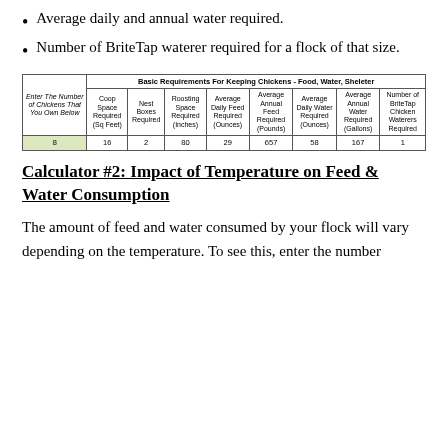Average daily and annual water required.
Number of BriteTap waterer required for a flock of that size.
|  | Basic Requirements For Keeping Chickens - Food, Water, Sheleter |  |  |  |  |  |  |  |
| --- | --- | --- | --- | --- | --- | --- | --- | --- |
| Enter The Number of Chickens That You Own Below | Coop Space Required (Sq Feet) | Nest Boxes Required | Roosting Space Required (Inches) | Average Daily Feed Required (Ounces) | Average Annual Feed Required (Pounds) | Average Daily Water Required (Ounces) | Average Annual Water Required (Gallons) | Number of BriteTap Chicken Waterers Required |
| 8 | 16 | 2 | 80 | 29 | 657 | 58 | 167 | 1 |
Calculator #2: Impact of Temperature on Feed & Water Consumption
The amount of feed and water consumed by your flock will vary depending on the temperature. To see this, enter the number